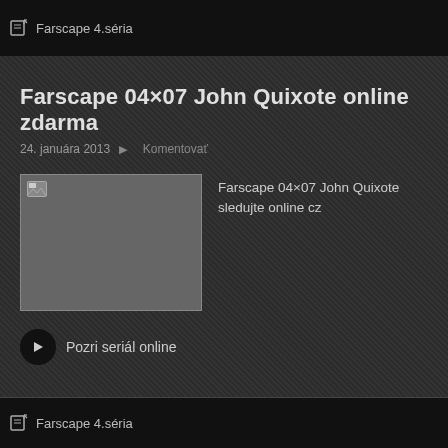Farscape 4.séria
Farscape 04×07 John Quixote online zdarma
24. januára 2013  ▶  Komentovať
[Figure (screenshot): Thumbnail image placeholder (broken image icon) for Farscape 04x07 episode]
Farscape 04×07 John Quixote sledujte online cz
▶ Pozri seriál online
Farscape 4.séria